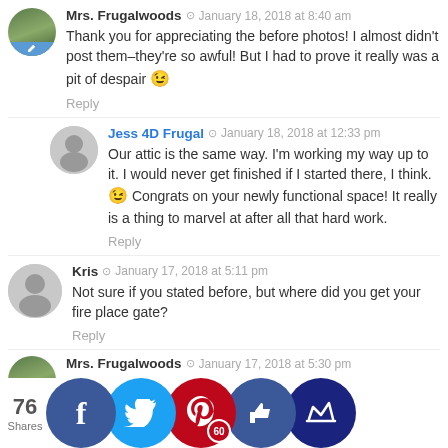[Figure (photo): Avatar photo of Mrs. Frugalwoods - woman with dark hair]
Mrs. Frugalwoods · January 18, 2018 at 8:40 am
Thank you for appreciating the before photos! I almost didn't post them–they're so awful! But I had to prove it really was a pit of despair 😉
Reply
[Figure (illustration): Generic gray silhouette avatar for Jess 4D Frugal]
Jess 4D Frugal · January 18, 2018 at 12:33 pm
Our attic is the same way. I'm working my way up to it. I would never get finished if I started there, I think. 😉 Congrats on your newly functional space! It really is a thing to marvel at after all that hard work.
Reply
[Figure (illustration): Generic gray silhouette avatar for Kris]
Kris · January 17, 2018 at 5:11 pm
Not sure if you stated before, but where did you get your fire place gate?
Reply
[Figure (photo): Avatar photo of Mrs. Frugalwoods - woman with dark hair]
Mrs. Frugalwoods · January 17, 2018 at 5:30 pm
...for free...our tow...ll listser...t sure of...sorry!
[Figure (infographic): Social share bar: 76 Shares, Facebook, Twitter, Pinterest (60), Like, Crown buttons]